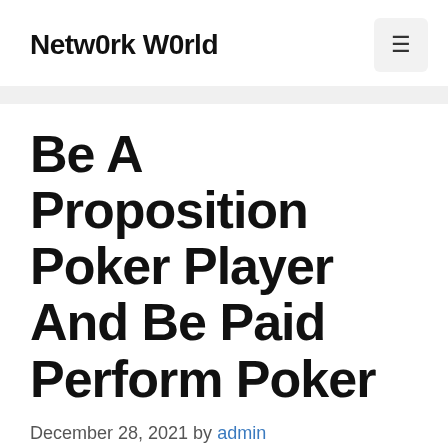Netw0rk W0rld
Be A Proposition Poker Player And Be Paid Perform Poker
December 28, 2021 by admin
A cheesy yet not so inappropriate term,